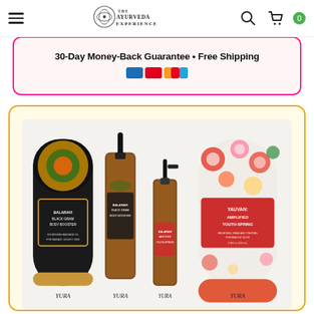The Ayurveda Experience — navigation bar with hamburger menu, logo, search and cart icons
30-Day Money-Back Guarantee • Free Shipping
[Figure (photo): Product photo showing Isvara/YURA Ayurvedic beauty product set: Balaravi Black Gram Body Booster cylindrical box (sunflower pattern), two amber pump/spray bottles, and Yauvan Amplified Youth-Spring cylindrical box (floral pattern) with matching lid, arranged on white background.]